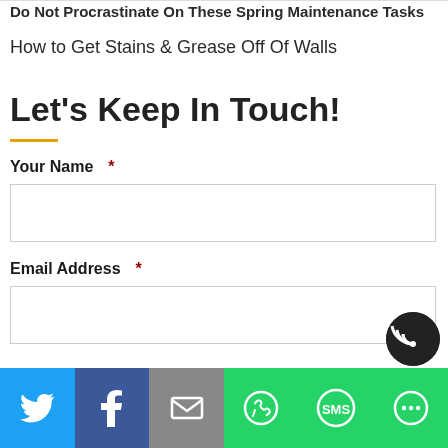Do Not Procrastinate On These Spring Maintenance Tasks
How to Get Stains & Grease Off Of Walls
Let's Keep In Touch!
Your Name  *
Email Address  *
[Figure (other): Social sharing bar with Twitter, Facebook, Email, WhatsApp, SMS, and More buttons]